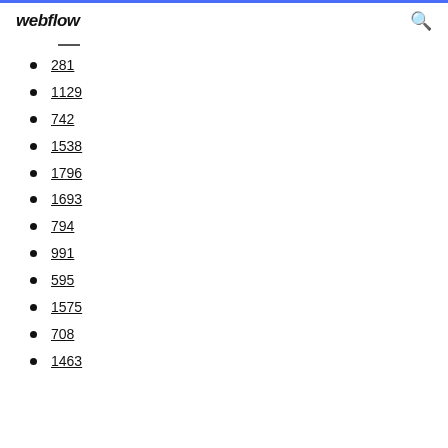webflow
281
1129
742
1538
1796
1693
794
991
595
1575
708
1463